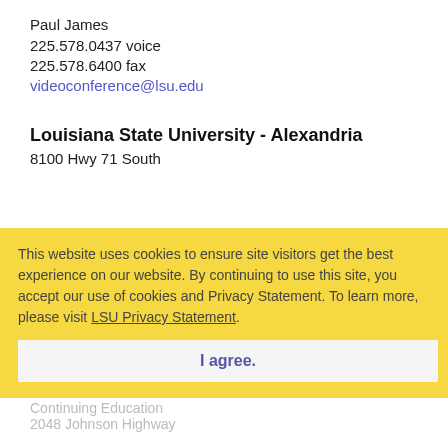Paul James
225.578.0437 voice
225.578.6400 fax
videoconference@lsu.edu
Louisiana State University - Alexandria
8100 Hwy 71 South
Alexandria, LA 71302
www.lsua.edu
Sandra Smith, the
318.473.6500 voice
318.473.6575 fax
ssingh@lsua.edu
[Figure (other): Cookie consent overlay with yellow background: 'This website uses cookies to ensure site visitors get the best experience on our website. By continuing to use this site, you accept our use of cookies and Privacy Statement. To learn more, please visit LSU Privacy Statement.' with 'I agree.' button]
Louisiana State University - Eunice
Continuing Education
2048 Johnson Highway